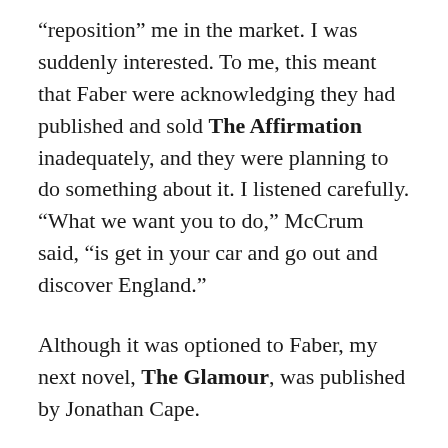“reposition” me in the market. I was suddenly interested. To me, this meant that Faber were acknowledging they had published and sold The Affirmation inadequately, and they were planning to do something about it. I listened carefully. “What we want you to do,” McCrum said, “is get in your car and go out and discover England.”
Although it was optioned to Faber, my next novel, The Glamour, was published by Jonathan Cape.
McCrum’s career as a publisher is usually regarded as successful. The Faber general fiction list, which until his arrival was clearly